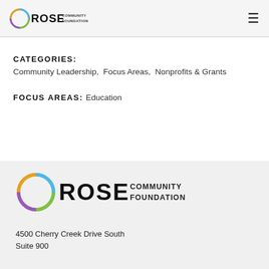ROSE COMMUNITY FOUNDATION
CATEGORIES: Community Leadership,  Focus Areas,  Nonprofits & Grants
FOCUS AREAS: Education
[Figure (logo): Rose Community Foundation logo - large version in footer]
4500 Cherry Creek Drive South
Suite 900